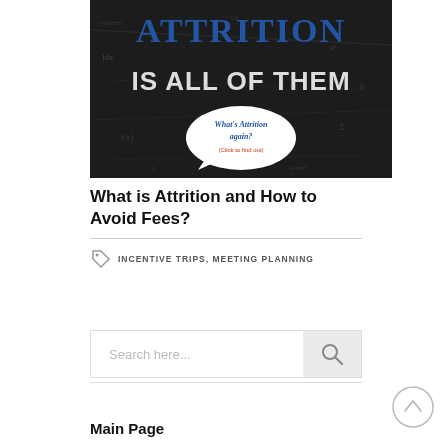[Figure (illustration): Dark chalkboard banner image with 'ATTRITION' in bold blue serif text, 'IS ALL OF THEM' in large chalk-style white text, and a speech bubble reading "What's Attrition again? (Click to find out)"]
What is Attrition and How to Avoid Fees?
INCENTIVE TRIPS, MEETING PLANNING
[Figure (screenshot): Search bar with placeholder text 'Search here...' and a search icon button on the right]
Main Page